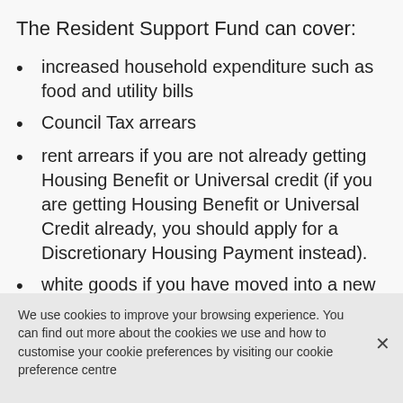The Resident Support Fund can cover:
increased household expenditure such as food and utility bills
Council Tax arrears
rent arrears if you are not already getting Housing Benefit or Universal credit (if you are getting Housing Benefit or Universal Credit already, you should apply for a Discretionary Housing Payment instead).
white goods if you have moved into a new unfurnished rented property
We use cookies to improve your browsing experience. You can find out more about the cookies we use and how to customise your cookie preferences by visiting our cookie preference centre